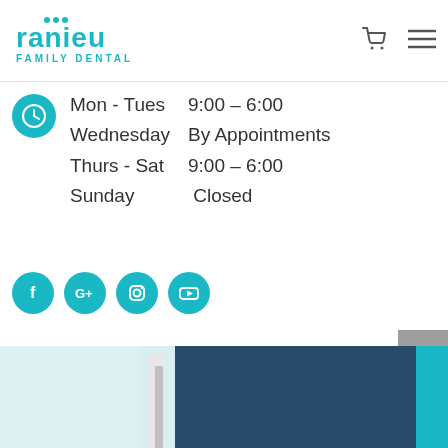ranieu FAMILY DENTAL
Mon - Tues   9:00 – 6:00
Wednesday   By Appointments
Thurs - Sat   9:00 – 6:00
Sunday         Closed
[Figure (logo): Social media icons: Facebook, Google+, Instagram, YouTube — teal circles with white icons]
[Figure (photo): Bottom portion showing a dental office window/blinds area with teal and blue tones]